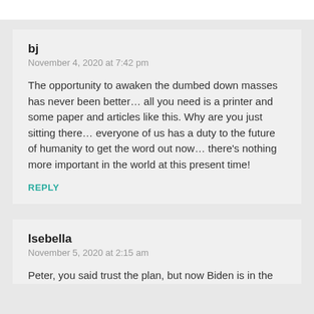bj
November 4, 2020 at 7:42 pm
The opportunity to awaken the dumbed down masses has never been better… all you need is a printer and some paper and articles like this. Why are you just sitting there… everyone of us has a duty to the future of humanity to get the word out now… there's nothing more important in the world at this present time!
REPLY
Isebella
November 5, 2020 at 2:15 am
Peter, you said trust the plan, but now Biden is in the